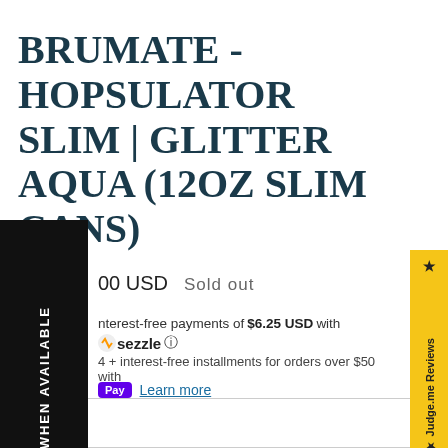BRUMATE - HOPSULATOR SLIM | GLITTER AQUA (12OZ SLIM CANS)
$25.00 USD   Sold out
4 interest-free payments of $6.25 USD with sezzle ⓘ
4 + interest-free installments for orders over $50 with
Pay  Learn more
Quantity
1  +